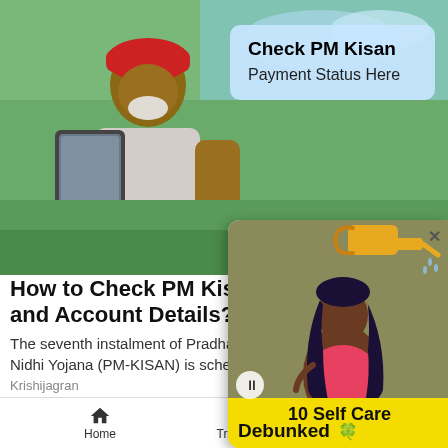[Figure (photo): Top banner image showing a farmer holding a tablet in a green farm setting, with a 'Check PM Kisan Payment Status Here' badge in the top right corner]
How to Check PM Kisan P... and Account Details?
The seventh instalment of Pradhan... Nidhi Yojana (PM-KISAN) is sched...
Krishijagran
[Figure (photo): Partial photo of what appears to be headphones or curved dark object at bottom left]
[Figure (illustration): Overlay card showing an illustration of a woman with long dark hair being watered by a watering can, with a yellow banner reading '10 Self Care Myths Debunked']
Home   Trending